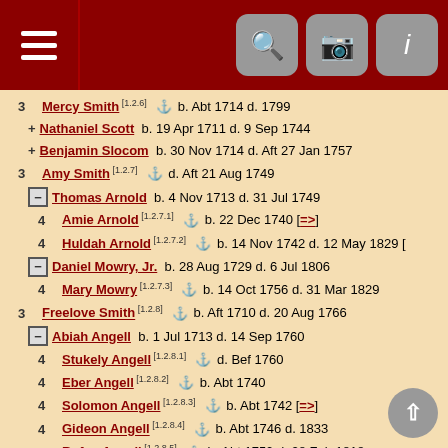Genealogy list view with navigation header
3 Mercy Smith [1.2.6] b. Abt 1714 d. 1799
+ Nathaniel Scott b. 19 Apr 1711 d. 9 Sep 1744
+ Benjamin Slocom b. 30 Nov 1714 d. Aft 27 Jan 1757
3 Amy Smith [1.2.7] d. Aft 21 Aug 1749
- Thomas Arnold b. 4 Nov 1713 d. 31 Jul 1749
4 Amie Arnold [1.2.7.1] b. 22 Dec 1740 [=>]
4 Huldah Arnold [1.2.7.2] b. 14 Nov 1742 d. 12 May 1829 [
- Daniel Mowry, Jr. b. 28 Aug 1729 d. 6 Jul 1806
4 Mary Mowry [1.2.7.3] b. 14 Oct 1756 d. 31 Mar 1829
3 Freelove Smith [1.2.8] b. Aft 1710 d. 20 Aug 1766
- Abiah Angell b. 1 Jul 1713 d. 14 Sep 1760
4 Stukely Angell [1.2.8.1] d. Bef 1760
4 Eber Angell [1.2.8.2] b. Abt 1740
4 Solomon Angell [1.2.8.3] b. Abt 1742 [=>]
4 Gideon Angell [1.2.8.4] b. Abt 1746 d. 1833
4 Rufus Angell [1.2.8.5] b. Abt 1750 d. 28 Feb 1818
4 Abiah Angell [1.2.8.6] b. Abt 1752 d. Jan 1827
4 George Angell [1.2.8.7] b. Abt 1754 d. Aft 6 Jul 1789
4 Hezekiah Angell [1.2.8.8]
4 Benjamin Angell [1.2.8.9] b. 9 Mar 1760 d. Sep 1826 [=>